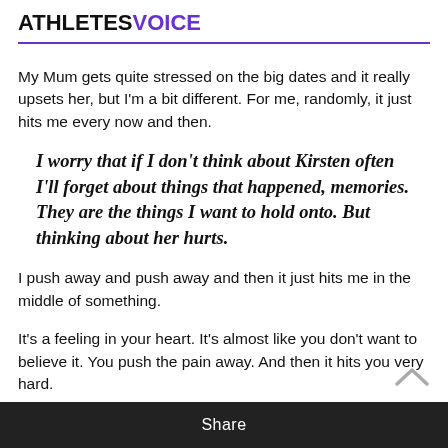ATHLETES VOICE
My Mum gets quite stressed on the big dates and it really upsets her, but I'm a bit different. For me, randomly, it just hits me every now and then.
I worry that if I don't think about Kirsten often I'll forget about things that happened, memories. They are the things I want to hold onto. But thinking about her hurts.
I push away and push away and then it just hits me in the middle of something.
It's a feeling in your heart. It's almost like you don't want to believe it. You push the pain away. And then it hits you very hard.
Share